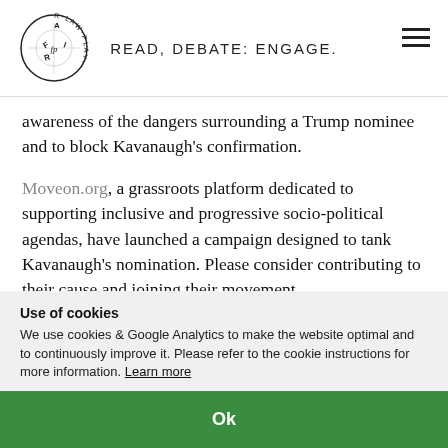READ, DEBATE: ENGAGE.
awareness of the dangers surrounding a Trump nominee and to block Kavanaugh's confirmation.
Moveon.org, a grassroots platform dedicated to supporting inclusive and progressive socio-political agendas, have launched a campaign designed to tank Kavanaugh's nomination. Please consider contributing to their cause and joining their movement.
Indivisible, an organization committed to establishing
Use of cookies
We use cookies & Google Analytics to make the website optimal and to continuously improve it. Please refer to the cookie instructions for more information. Learn more
Ok